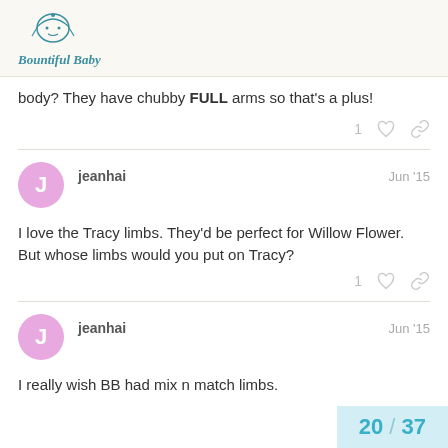Bountiful Baby
body? They have chubby FULL arms so that's a plus!
jeanhai · Jun '15
I love the Tracy limbs. They'd be perfect for Willow Flower. But whose limbs would you put on Tracy?
jeanhai · Jun '15
I really wish BB had mix n match limbs.
20 / 37